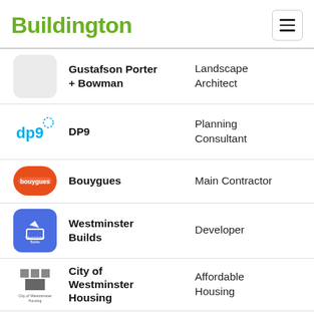[Figure (logo): Buildington green logo text]
| Logo | Company | Role |
| --- | --- | --- |
| [Gustafson Porter + Bowman logo] | Gustafson Porter + Bowman | Landscape Architect |
| [DP9 logo] | DP9 | Planning Consultant |
| [Bouygues logo] | Bouygues | Main Contractor |
| [Westminster Builds logo] | Westminster Builds | Developer |
| [City of Westminster Housing logo] | City of Westminster Housing | Affordable Housing |
| [Flint logo] | Flint | Interior Designer |